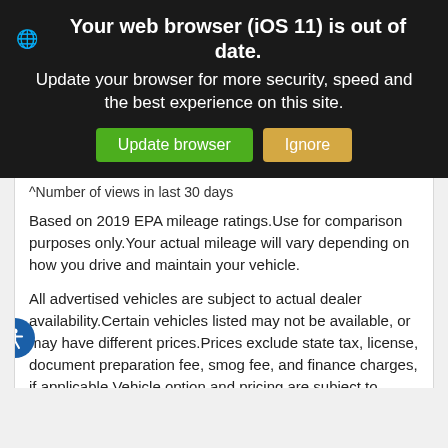🌐 Your web browser (iOS 11) is out of date. Update your browser for more security, speed and the best experience on this site. [Update browser] [Ignore]
^Number of views in last 30 days
Based on 2019 EPA mileage ratings. Use for comparison purposes only. Your actual mileage will vary depending on how you drive and maintain your vehicle.
All advertised vehicles are subject to actual dealer availability. Certain vehicles listed may not be available, or may have different prices. Prices exclude state tax, license, document preparation fee, smog fee, and finance charges, if applicable. Vehicle option and pricing are subject to change. Prices include all dealer incentives. Pricing and availability varies by dealership. Please check with your dealer for more information. Prices do not include dealer charges, such as advertising, that can vary by manufacturer or region, or costs for selling, preparing,